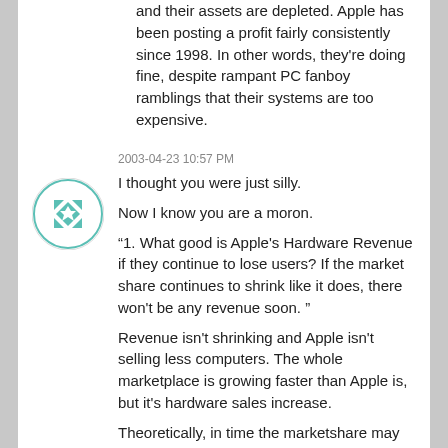and their assets are depleted. Apple has been posting a profit fairly consistently since 1998. In other words, they're doing fine, despite rampant PC fanboy ramblings that their systems are too expensive.
2003-04-23 10:57 PM
I thought you were just silly.
Now I know you are a moron.
“1. What good is Apple's Hardware Revenue if they continue to lose users? If the market share continues to shrink like it does, there won't be any revenue soon. ”
Revenue isn't shrinking and Apple isn't selling less computers. The whole marketplace is growing faster than Apple is, but it's hardware sales increase.
Theoretically, in time the marketshare may be too small to make a developer community sustainable–threatening the